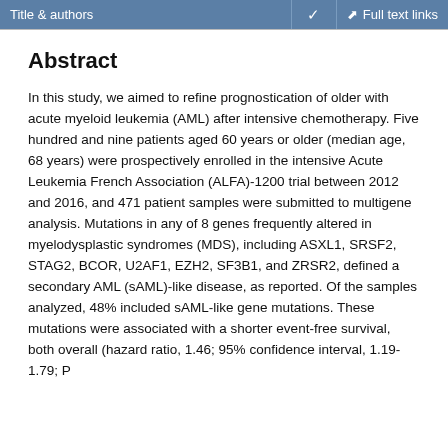Title & authors | Full text links
Abstract
In this study, we aimed to refine prognostication of older with acute myeloid leukemia (AML) after intensive chemotherapy. Five hundred and nine patients aged 60 years or older (median age, 68 years) were prospectively enrolled in the intensive Acute Leukemia French Association (ALFA)-1200 trial between 2012 and 2016, and 471 patient samples were submitted to multigene analysis. Mutations in any of 8 genes frequently altered in myelodysplastic syndromes (MDS), including ASXL1, SRSF2, STAG2, BCOR, U2AF1, EZH2, SF3B1, and ZRSR2, defined a secondary AML (sAML)-like disease, as reported. Of the samples analyzed, 48% included sAML-like gene mutations. These mutations were associated with a shorter event-free survival, both overall (hazard ratio, 1.46; 95% confidence interval, 1.19-1.79; P